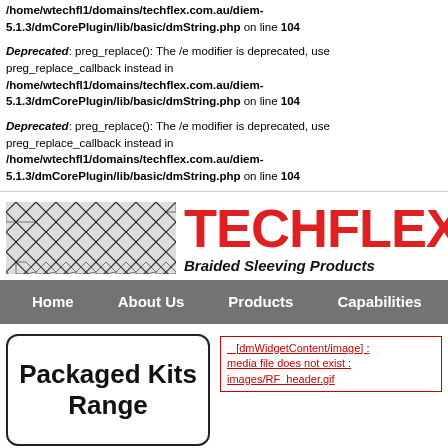/home/wtechfl1/domains/techflex.com.au/diem-5.1.3/dmCorePlugin/lib/basic/dmString.php on line 104
Deprecated: preg_replace(): The /e modifier is deprecated, use preg_replace_callback instead in /home/wtechfl1/domains/techflex.com.au/diem-5.1.3/dmCorePlugin/lib/basic/dmString.php on line 104
Deprecated: preg_replace(): The /e modifier is deprecated, use preg_replace_callback instead in /home/wtechfl1/domains/techflex.com.au/diem-5.1.3/dmCorePlugin/lib/basic/dmString.php on line 104
[Figure (logo): Techflex Braided Sleeving Products logo with braided sleeve image on left and red TECHFLEX text on right]
Home   About Us   Products   Capabilities   [EXC...
Packaged Kits Range
[dmWidgetContent/image] : media file does not exist : images/RF_header.gif